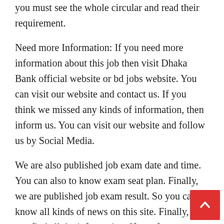you must see the whole circular and read their requirement.
Need more Information: If you need more information about this job then visit Dhaka Bank official website or bd jobs website. You can visit our website and contact us. If you think we missed any kinds of information, then inform us. You can visit our website and follow us by Social Media.
We are also published job exam date and time. You can also to know exam seat plan. Finally, we are published job exam result. So you can know all kinds of news on this site. Finally, you can find all the information. If you face any problem then inform us.
Share this: